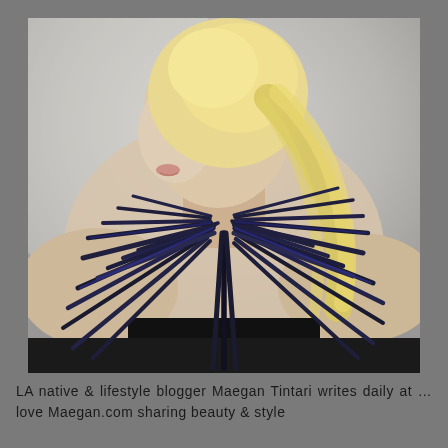[Figure (photo): A blonde woman photographed from behind/side angle, wearing a dramatic black fan-shaped collar necklace or garment detail with radiating spikes/fringe fanning out across her shoulders and neckline. She is wearing a black dress. Her blonde hair falls over one shoulder. The background is light/grey.]
LA native & lifestyle blogger Maegan Tintari writes daily at …love Maegan.com sharing beauty & style